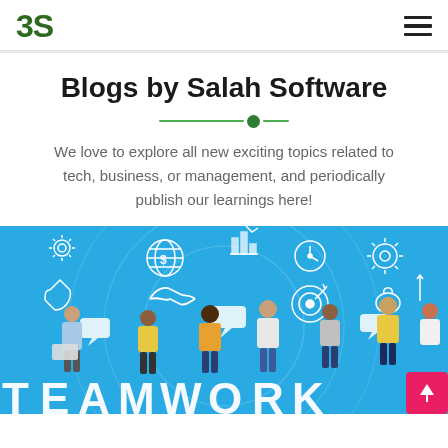3S
Blogs by Salah Software
We love to explore all new exciting topics related to tech, business, or management, and periodically publish our learnings here!
[Figure (illustration): A blue banner illustration showing a diverse team of people sitting/standing around large letters spelling 'TEAMWORK', with various business and technology icons floating above them (gears, globe, chart, clock, handshake, target). A pink/red circular scroll-to-top button appears in the bottom right corner.]